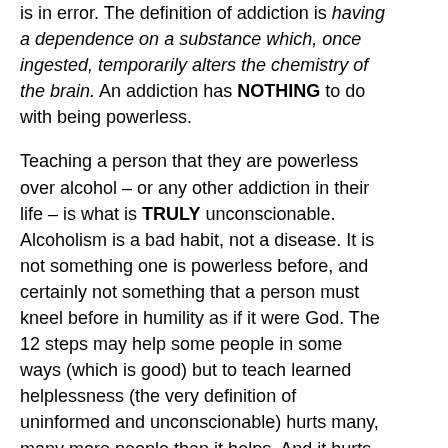is in error. The definition of addiction is having a dependence on a substance which, once ingested, temporarily alters the chemistry of the brain. An addiction has NOTHING to do with being powerless.
Teaching a person that they are powerless over alcohol – or any other addiction in their life – is what is TRULY unconscionable. Alcoholism is a bad habit, not a disease. It is not something one is powerless before, and certainly not something that a person must kneel before in humility as if it were God. The 12 steps may help some people in some ways (which is good) but to teach learned helplessness (the very definition of uninformed and unconscionable) hurts many, many more people than it helps. And it hurts them every day of the rest of their lives. (article continues below).